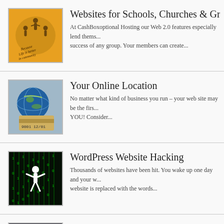[Figure (photo): Orange background with silhouettes of people holding hands in a circle, with handwritten text 'Because Life is better in community']
Websites for Schools, Churches & Groups
At CashBoxoptional Hosting our Web 2.0 features especially lend thems... success of any group. Your members can create...
[Figure (photo): Globe sitting on top of a credit card with numbers visible]
Your Online Location
No matter what kind of business you run – your web site may be the firs... YOU!    Consider...
[Figure (photo): Dark background with green digital matrix and white human figure with arms outstretched]
WordPress Website Hacking
Thousands of websites have been hit.  You wake up one day and your w... website is replaced with the words...
[Figure (photo): Dark image with Mary's Cleaning bonded and insured logo on a vehicle window]
How Websites Support Your Other Ads
Let's say that you invest in decal signs for the back window of you...